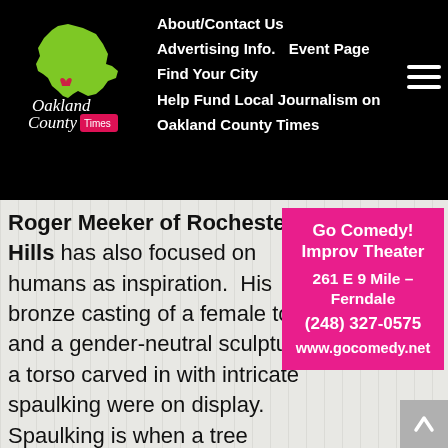Oakland County Times | About/Contact Us | Advertising Info. | Event Page | Find Your City | Help Fund Local Journalism on Oakland County Times
Roger Meeker of Rochester Hills has also focused on humans as inspiration.  His bronze casting of a female torso, and a gender-neutral sculpture of a torso carved in with intricate spaulking were on display. Spaulking is when a tree becomes infected with mold and begins to decay. At the earliest onset, it leaves thin black lines like lace through the wood. Meeker said lately he’s been taking different classes to learn new techniques.  “The more you keep involved, and keep learning, the more you
[Figure (other): Go Comedy! Improv Theater advertisement - pink background, white bold text, address 261 E 9 Mile - Ferndale, phone (248) 327-0575, website www.gocomedy.net]